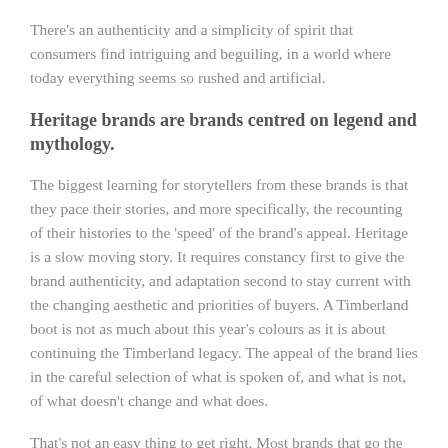There's an authenticity and a simplicity of spirit that consumers find intriguing and beguiling, in a world where today everything seems so rushed and artificial.
Heritage brands are brands centred on legend and mythology.
The biggest learning for storytellers from these brands is that they pace their stories, and more specifically, the recounting of their histories to the 'speed' of the brand's appeal. Heritage is a slow moving story. It requires constancy first to give the brand authenticity, and adaptation second to stay current with the changing aesthetic and priorities of buyers. A Timberland boot is not as much about this year's colours as it is about continuing the Timberland legacy. The appeal of the brand lies in the careful selection of what is spoken of, and what is not, of what doesn't change and what does.
That's not an easy thing to get right. Most brands that go the